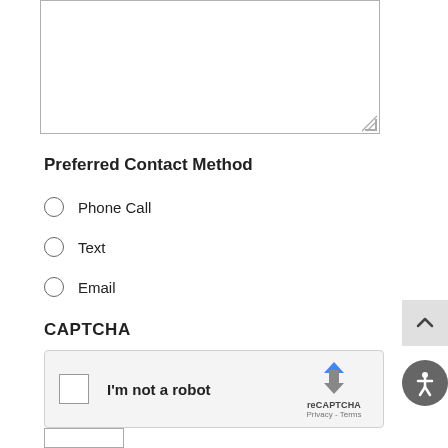[Figure (other): Large empty text input/textarea box with resize handle at bottom-right corner]
Preferred Contact Method
Phone Call
Text
Email
CAPTCHA
[Figure (other): reCAPTCHA widget with checkbox labeled 'I'm not a robot', reCAPTCHA logo, and Privacy - Terms links]
[Figure (other): Scroll-to-top button (chevron up) on right side]
[Figure (other): Accessibility button (person icon) on right side]
[Figure (other): Partial button at bottom left, appears to be a form submit or navigation button]